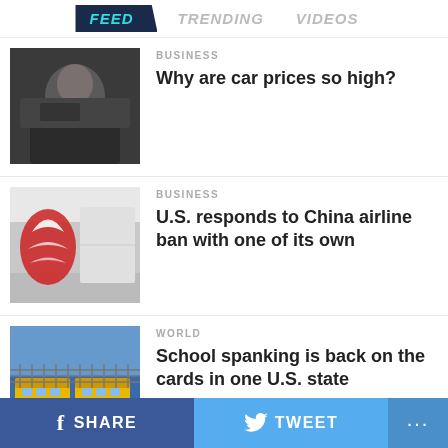FEED | TRENDING | VIDEOS
BUSINESS
Why are car prices so high?
[Figure (photo): Man sitting in car, viewed from side, dark interior]
BUSINESS
U.S. responds to China airline ban with one of its own
[Figure (photo): Air China aircraft tail with logo]
WORLD
School spanking is back on the cards in one U.S. state
[Figure (photo): Yellow school buses behind a chain-link fence]
ADVERTISEMENT
SHARE | TWEET | ...